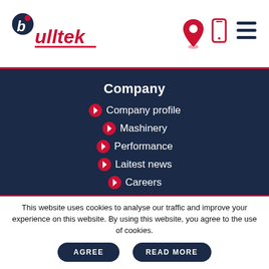[Figure (logo): Bulltek company logo with red circle, blue 'b' letter and 'bulltek' text in dark navy]
[Figure (infographic): Header icons: location pin (red), mobile phone (red outline), hamburger menu (dark navy)]
Company
Company profile
Mashinery
Performance
Laitest news
Careers
Services
Plastic injection molding
This website uses cookies to analyse our traffic and improve your experience on this website. By using this website, you agree to the use of cookies.
AGREE   READ MORE